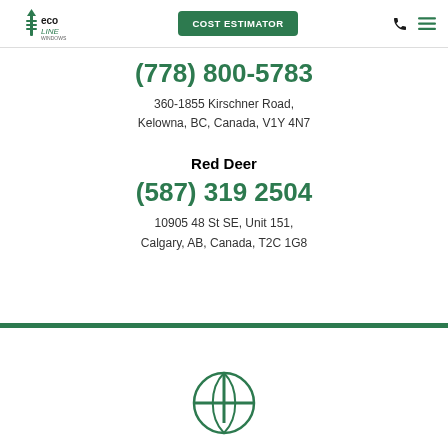EcoLine Windows — COST ESTIMATOR
(778) 800-5783
360-1855 Kirschner Road,
Kelowna, BC, Canada, V1Y 4N7
Red Deer
(587) 319 2504
10905 48 St SE, Unit 151,
Calgary, AB, Canada, T2C 1G8
[Figure (logo): EcoLine Windows logo (partial, at bottom of page)]